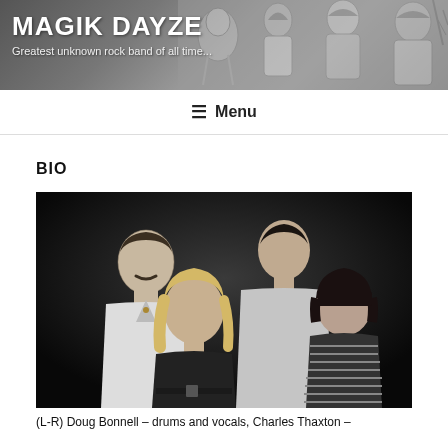MAGIK DAYZE
Greatest unknown rock band of all time...
≡ Menu
BIO
[Figure (photo): Black and white band photo showing four members: (L-R) Doug Bonnell – drums and vocals, Charles Thaxton –]
(L-R) Doug Bonnell – drums and vocals, Charles Thaxton –